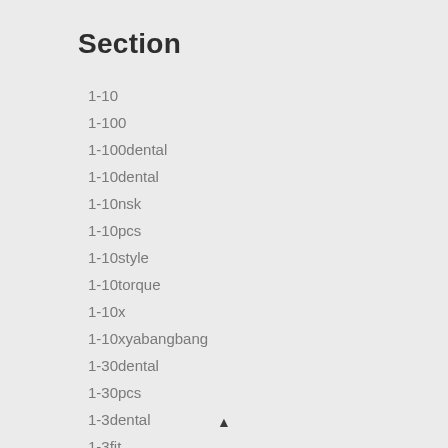Section
1-10
1-100
1-100dental
1-10dental
1-10nsk
1-10pcs
1-10style
1-10torque
1-10x
1-10xyabangbang
1-30dental
1-30pcs
1-3dental
1-3fit
▲